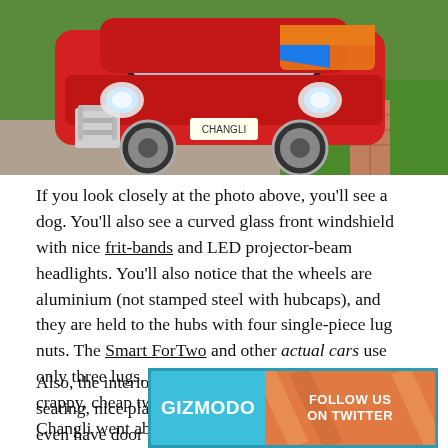[Figure (photo): Photo of a red mini car (Changli) with chrome bull bar, curved glass windshield, LED projector headlights, aluminum wheels, and colorful decals, parked on gravel near grass and a brick path]
If you look closely at the photo above, you'll see a dog. You'll also see a curved glass front windshield with nice frit-bands and LED projector-beam headlights. You'll also notice that the wheels are aluminium (not stamped steel with hubcaps), and they are held to the hubs with four single-piece lug nuts. The Smart ForTwo and other actual cars use only three lugs, and many automakers have used crappy, cheap two-piece lug nuts over the years, so Changli went above and beyond, here.
Also, the interior features two-tone faux-leather seating, nice plastic door cards (my Postal Jeep didn't even have door cards), ned — padded
[Figure (other): Gizmodo advertisement banner — Follow us on Twitter]